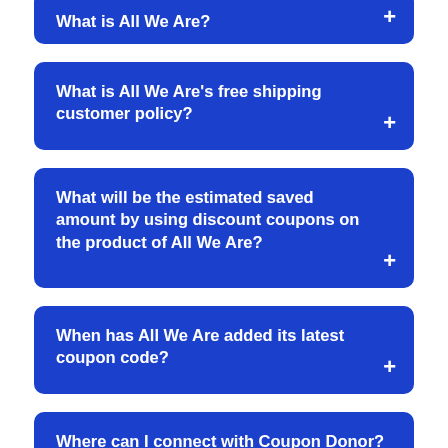What is All We Are? +
What is All We Are's free shipping customer policy? +
What will be the estimated saved amount by using discount coupons on the product of All We Are? +
When has All We Are added its latest coupon code? +
Where can I connect with Coupon Donor?+